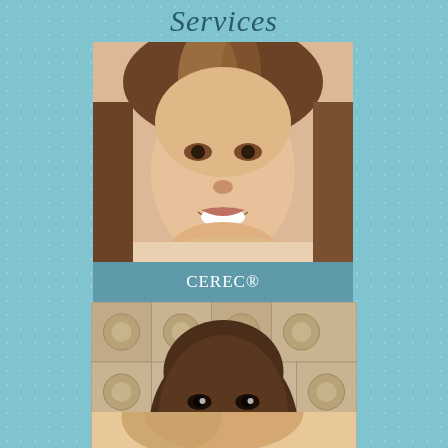Services
[Figure (photo): Smiling young woman with brown highlighted hair resting chin on hands, white teeth visible, light background]
CEREC®
[Figure (photo): Smiling young Black man against decorative stone tile background, white teeth visible]
Invisalign®
[Figure (photo): Partial view of third person at bottom of page, cropped]